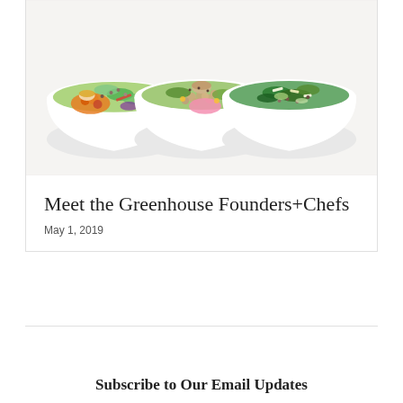[Figure (photo): Three white bowls filled with colorful salads and grain bowls, arranged side by side on a white background. Left bowl has roasted vegetables and greens with dressing, center bowl has chickpeas, greens and pink pickled onions, right bowl has kale salad with toppings.]
Meet the Greenhouse Founders+Chefs
May 1, 2019
Subscribe to Our Email Updates